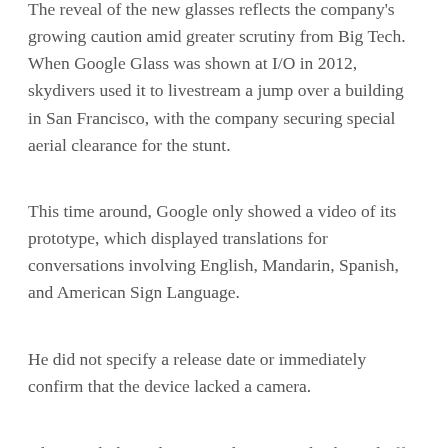The reveal of the new glasses reflects the company's growing caution amid greater scrutiny from Big Tech. When Google Glass was shown at I/O in 2012, skydivers used it to livestream a jump over a building in San Francisco, with the company securing special aerial clearance for the stunt.
This time around, Google only showed a video of its prototype, which displayed translations for conversations involving English, Mandarin, Spanish, and American Sign Language.
He did not specify a release date or immediately confirm that the device lacked a camera.
Along with the gadget, Google previously showed off a feature that would eventually let users take a video of store shelves with bottles of wine and have the search app perform functions like automatically identifying options. black-owned wineries.
Likewise, later this year, users will be able to take a photo of a